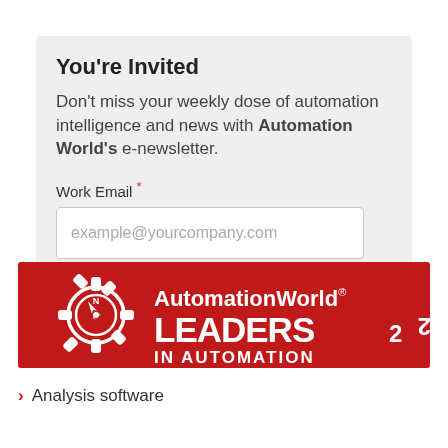You're Invited
Don't miss your weekly dose of automation intelligence and news with Automation World's e-newsletter.
Work Email *
example@yourcompany.com
SIGN ME UP!
[Figure (logo): Automation World Leaders in Automation 2022 red banner logo with compass gear icon]
Analysis software